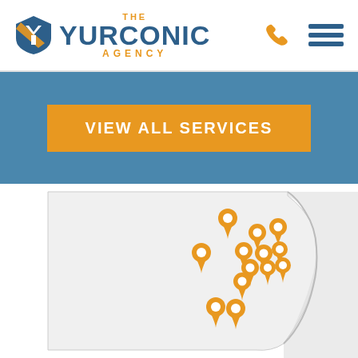[Figure (logo): The Yurconic Agency logo with shield icon, phone icon, and hamburger menu]
VIEW ALL SERVICES
[Figure (map): Map of a region (Pennsylvania) with multiple orange location pin markers clustered in the central-right area, with a torn paper right edge effect]